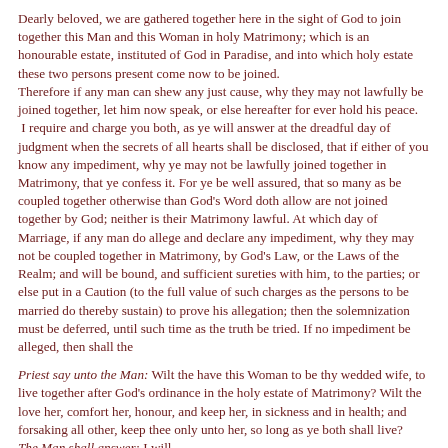Dearly beloved, we are gathered together here in the sight of God to join together this Man and this Woman in holy Matrimony; which is an honourable estate, instituted of God in Paradise, and into which holy estate these two persons present come now to be joined. Therefore if any man can shew any just cause, why they may not lawfully be joined together, let him now speak, or else hereafter for ever hold his peace. I require and charge you both, as ye will answer at the dreadful day of judgment when the secrets of all hearts shall be disclosed, that if either of you know any impediment, why ye may not be lawfully joined together in Matrimony, that ye confess it. For ye be well assured, that so many as be coupled together otherwise than God's Word doth allow are not joined together by God; neither is their Matrimony lawful. At which day of Marriage, if any man do allege and declare any impediment, why they may not be coupled together in Matrimony, by God's Law, or the Laws of the Realm; and will be bound, and sufficient sureties with him, to the parties; or else put in a Caution (to the full value of such charges as the persons to be married do thereby sustain) to prove his allegation; then the solemnization must be deferred, until such time as the truth be tried. If no impediment be alleged, then shall the
Priest say unto the Man: Wilt the have this Woman to be thy wedded wife, to live together after God's ordinance in the holy estate of Matrimony? Wilt the love her, comfort her, honour, and keep her, in sickness and in health; and forsaking all other, keep thee only unto her, so long as ye both shall live? The Man shall answer: I will. Then shall the Priest say to the Woman: Wilt the have this man to be thy wedded husband, to live together after God's ordinance in the holy estate of Matrimony? Wilt the obey him, and serve him, love, honour, and keep him in sickness and in